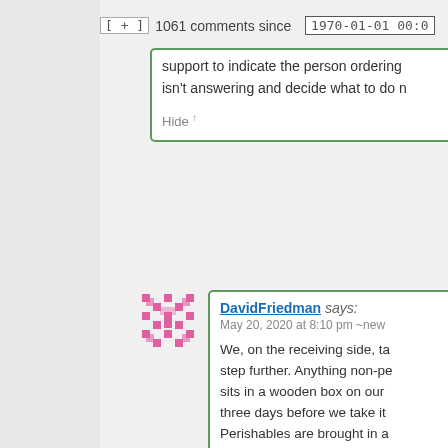[ + ]  1061 comments since   1970-01-01 00:0
support to indicate the person ordering isn't answering and decide what to do n
Hide ↑
DavidFriedman says: May 20, 2020 at 8:10 pm ~new
We, on the receiving side, ta step further. Anything non-pe sits in a wooden box on our three days before we take it Perishables are brought in a washed with soapy water. And I would certainly prefer delivery person not touch the handle.
Hide ↑